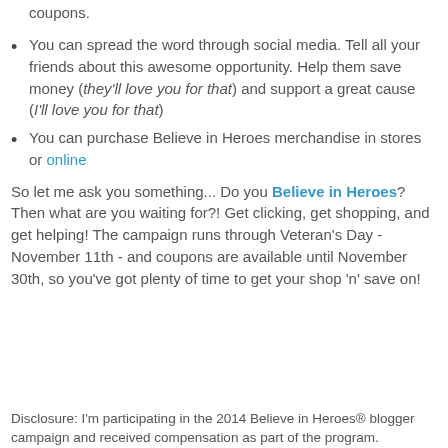coupons.
You can spread the word through social media. Tell all your friends about this awesome opportunity. Help them save money (they'll love you for that) and support a great cause (I'll love you for that)
You can purchase Believe in Heroes merchandise in stores or online
So let me ask you something... Do you Believe in Heroes? Then what are you waiting for?! Get clicking, get shopping, and get helping! The campaign runs through Veteran's Day - November 11th - and coupons are available until November 30th, so you've got plenty of time to get your shop 'n' save on!
Disclosure: I'm participating in the 2014 Believe in Heroes® blogger campaign and received compensation as part of the program.